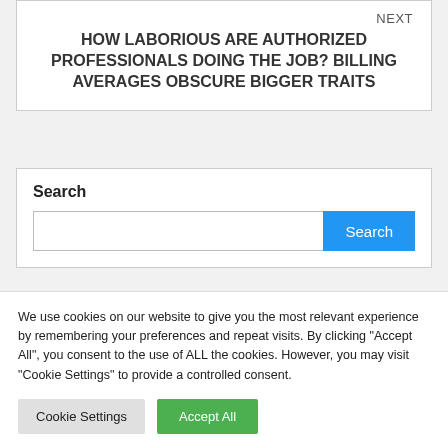NEXT
HOW LABORIOUS ARE AUTHORIZED PROFESSIONALS DOING THE JOB? BILLING AVERAGES OBSCURE BIGGER TRAITS
Search
Search
We use cookies on our website to give you the most relevant experience by remembering your preferences and repeat visits. By clicking “Accept All”, you consent to the use of ALL the cookies. However, you may visit "Cookie Settings" to provide a controlled consent.
Cookie Settings
Accept All